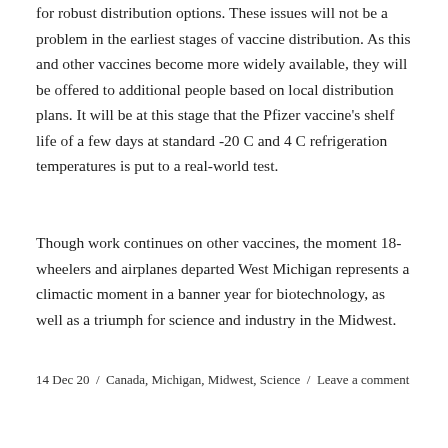for robust distribution options. These issues will not be a problem in the earliest stages of vaccine distribution. As this and other vaccines become more widely available, they will be offered to additional people based on local distribution plans. It will be at this stage that the Pfizer vaccine's shelf life of a few days at standard -20 C and 4 C refrigeration temperatures is put to a real-world test.
Though work continues on other vaccines, the moment 18-wheelers and airplanes departed West Michigan represents a climactic moment in a banner year for biotechnology, as well as a triumph for science and industry in the Midwest.
14 Dec 20 / Canada, Michigan, Midwest, Science / Leave a comment